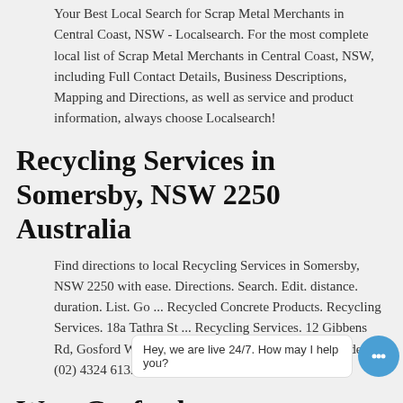Your Best Local Search for Scrap Metal Merchants in Central Coast, NSW - Localsearch. For the most complete local list of Scrap Metal Merchants in Central Coast, NSW, including Full Contact Details, Business Descriptions, Mapping and Directions, as well as service and product information, always choose Localsearch!
Recycling Services in Somersby, NSW 2250 Australia
Find directions to local Recycling Services in Somersby, NSW 2250 with ease. Directions. Search. Edit. distance. duration. List. Go ... Recycled Concrete Products. Recycling Services. 18a Tathra St ... Recycling Services. 12 Gibbens Rd, Gosford West, NSW 2250 No opening hours provided (02) 4324 6133 Get Directions. Gosford Document ...
West Gosford: tears